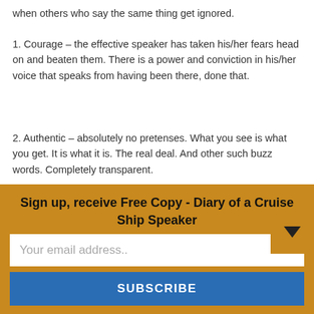when others who say the same thing get ignored.
1. Courage – the effective speaker has taken his/her fears head on and beaten them. There is a power and conviction in his/her voice that speaks from having been there, done that.
2. Authentic – absolutely no pretenses. What you see is what you get. It is what it is. The real deal. And other such buzz words. Completely transparent.
3. Integrity – no fudge factor. No speaking out of both sides of his/her mouth. Did what s/he said s/he would do. Does what s/he say s/he will d…
Sign up, receive Free Copy - Diary of a Cruise Ship Speaker
Your email address..
SUBSCRIBE